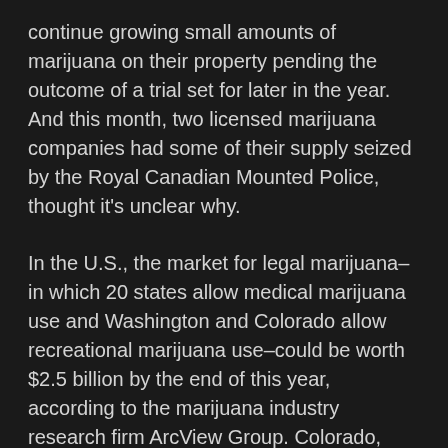continue growing small amounts of marijuana on their property pending the outcome of a trial set for later in the year. And this month, two licensed marijuana companies had some of their supply seized by the Royal Canadian Mounted Police, thought it's unclear why.
In the U.S., the market for legal marijuana–in which 20 states allow medical marijuana use and Washington and Colorado allow recreational marijuana use–could be worth $2.5 billion by the end of this year, according to the marijuana industry research firm ArcView Group. Colorado, which started allowing recreational marijuana use in January, earned more than $7 million in tax revenue in the first two months of the year. Washington state is expected to start allowing sales this summer.
Zettl's Prairie Plant Systems, which had revenue of $12